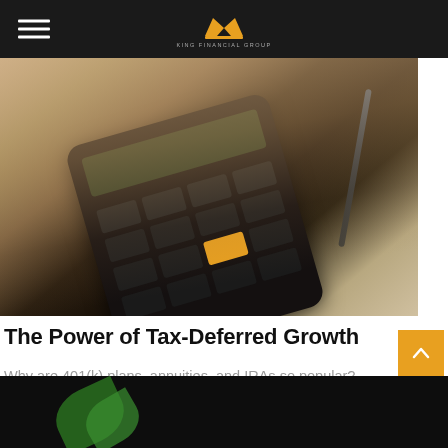The Power of Tax-Deferred Growth — site navigation header with logo
[Figure (photo): Close-up photo of hands using a calculator with a pen, dark background, financial calculation concept]
The Power of Tax-Deferred Growth
Why are 401(k) plans, annuities, and IRAs so popular?